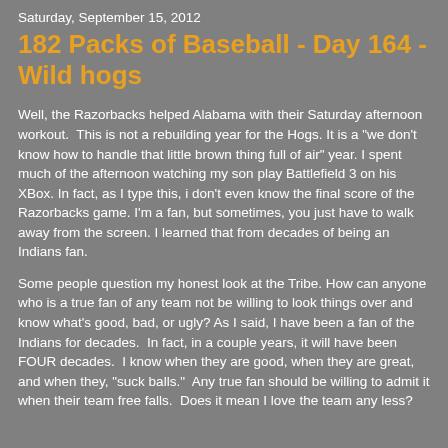Saturday, September 15, 2012
182 Packs of Baseball - Day 164 - Wild hogs
Well, the Razorbacks helped Alabama with their Saturday afternoon workout.  This is not a rebuilding year for the Hogs. It is a "we don't know how to handle that little brown thing full of air" year. I spent much of the afternoon watching my son play Battlefield 3 on his XBox. In fact, as I type this, i don't even know the final score of the Razorbacks game. I'm a fan, but sometimes, you just have to walk away from the screen. I learned that from decades of being an Indians fan.
Some people question my honest look at the Tribe. How can anyone who is a true fan of any team not be willing to look things over and know what's good, bad, or ugly? As I said, I have been a fan of the Indians for decades.  In fact, in a couple years, it will have been FOUR decades.  I know when they are good, when they are great, and when they, "suck balls."  Any true fan should be willing to admit it when their team free falls.  Does it mean I love the team any less?